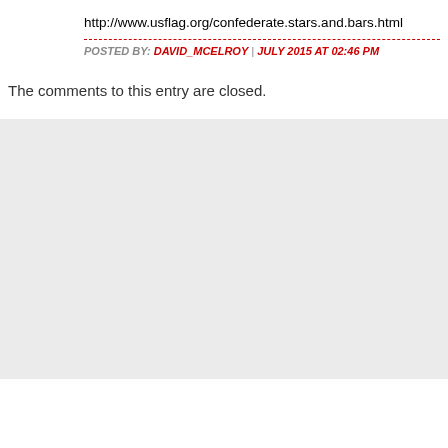http://www.usflag.org/confederate.stars.and.bars.html
POSTED BY: DAVID_MCELROY | JULY 2015 AT 02:46 PM
The comments to this entry are closed.